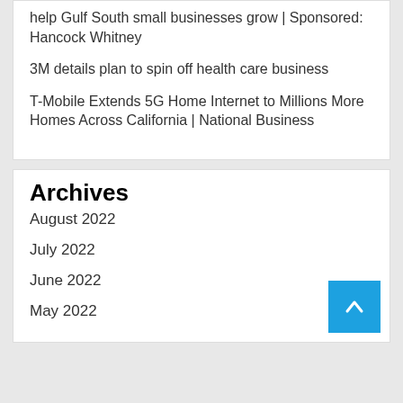help Gulf South small businesses grow | Sponsored: Hancock Whitney
3M details plan to spin off health care business
T-Mobile Extends 5G Home Internet to Millions More Homes Across California | National Business
Archives
August 2022
July 2022
June 2022
May 2022